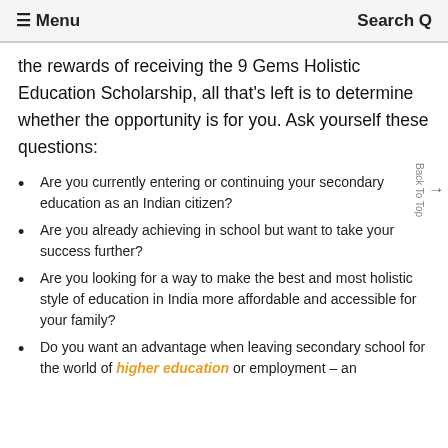≡ Menu   Search Q
the rewards of receiving the 9 Gems Holistic Education Scholarship, all that's left is to determine whether the opportunity is for you. Ask yourself these questions:
Are you currently entering or continuing your secondary education as an Indian citizen?
Are you already achieving in school but want to take your success further?
Are you looking for a way to make the best and most holistic style of education in India more affordable and accessible for your family?
Do you want an advantage when leaving secondary school for the world of higher education or employment – an